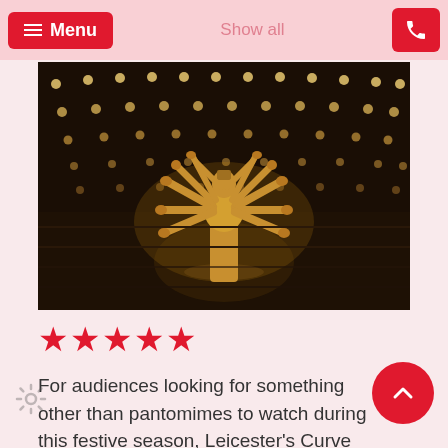Menu | Show all | [phone icon]
[Figure (photo): A theatrical stage performance showing a performer in gold costume with many arms extending outward, surrounded by rows of stage lights against a dark backdrop.]
★★★★★
For audiences looking for something other than pantomimes to watch during this festive season, Leicester's Curve are offering